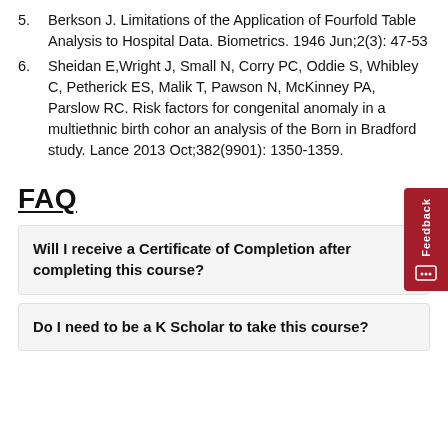5. Berkson J. Limitations of the Application of Fourfold Table Analysis to Hospital Data. Biometrics. 1946 Jun;2(3): 47-53
6. Sheidan E,Wright J, Small N, Corry PC, Oddie S, Whibley C, Petherick ES, Malik T, Pawson N, McKinney PA, Parslow RC. Risk factors for congenital anomaly in a multiethnic birth cohort: an analysis of the Born in Bradford study. Lancet. 2013 Oct;382(9901): 1350-1359.
FAQ
Will I receive a Certificate of Completion after completing this course?
Do I need to be a K Scholar to take this course?